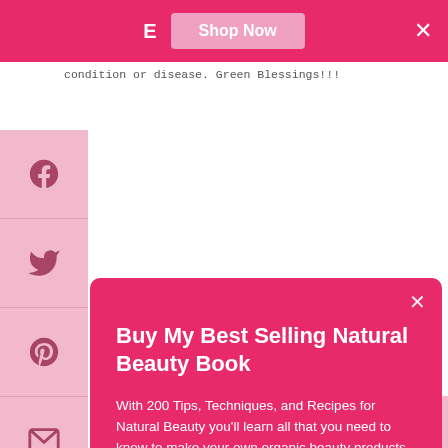E   Shop Now   ×
condition or disease. Green Blessings!!!
[Figure (screenshot): Social share sidebar with Facebook, Twitter, Pinterest, and email icons on pink background]
Buy My Best Selling Natural Beauty Book
With 200 Tips, Techniques, and Recipes for Natural Beauty you'll learn all that you need to know to make your own organic beauty products.
Shop Now
Subs   Contact Me   ^